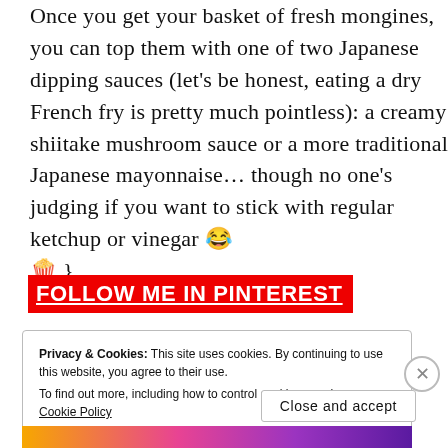Once you get your basket of fresh mongines, you can top them with one of two Japanese dipping sauces (let's be honest, eating a dry French fry is pretty much pointless): a creamy shiitake mushroom sauce or a more traditional Japanese mayonnaise… though no one's judging if you want to stick with regular ketchup or vinegar 😂 🍿 }
FOLLOW ME IN PINTEREST
Privacy & Cookies: This site uses cookies. By continuing to use this website, you agree to their use.
To find out more, including how to control cookies, see here: Cookie Policy